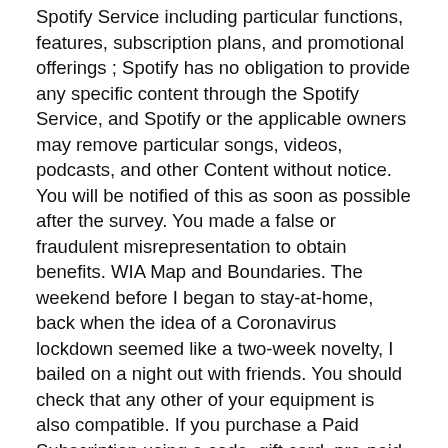Spotify Service including particular functions, features, subscription plans, and promotional offerings ; Spotify has no obligation to provide any specific content through the Spotify Service, and Spotify or the applicable owners may remove particular songs, videos, podcasts, and other Content without notice. You will be notified of this as soon as possible after the survey. You made a false or fraudulent misrepresentation to obtain benefits. WIA Map and Boundaries. The weekend before I began to stay-at-home, back when the idea of a Coronavirus lockdown seemed like a two-week novelty, I bailed on a night out with friends. You should check that any other of your equipment is also compatible. If you purchase a Paid Subscription using a code, gift card, pre-paid offer, or other offer provided or sold by or on behalf of Spotify for access to a Paid Subscription *Codes*you hereby agree to the Spotify Card Terms. All nominees, by signing this how to write a service agreement cancellation letter form, do declare their willingness to serve the Association for a three-year term. Excuses to get out of a presentation online. This condominium letter template is a real-life sample of a common letter sent from a condominium association to its co-owners advising them of the new fee amounts and schedule for the upcoming year. A: Unfortunately, once an application is submitted, the claimant is not able to